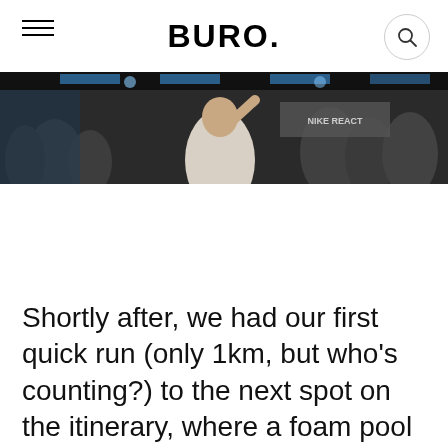BURO.
[Figure (photo): A person in a white t-shirt raising their arm at an indoor Nike event, surrounded by a crowd and Nike React signage in the background.]
Shortly after, we had our first quick run (only 1km, but who's counting?) to the next spot on the itinerary, where a foam pool party was about to go down. Just